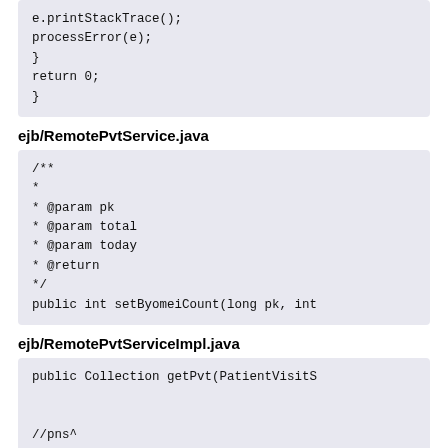[Figure (screenshot): Code block showing e.printStackTrace(); processError(e); } return 0; }]
ejb/RemotePvtService.java
[Figure (screenshot): Code block showing Javadoc comment with @param pk, @param total, @param today, @return, and public int setByomeiCount(long pk, int]
ejb/RemotePvtServiceImpl.java
[Figure (screenshot): Code block showing public Collection getPvt(PatientVisitS with CJK characters, //pns^ comment, // CJK PK CJK, KarteBean karte = (KarteBean)em.crea]